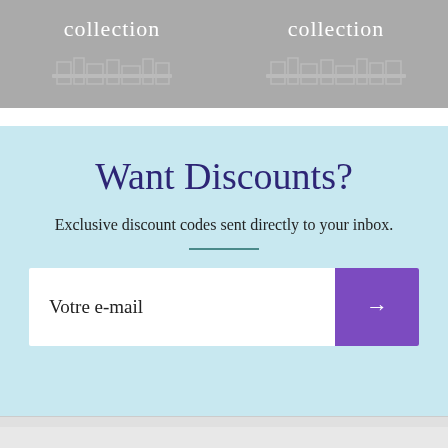[Figure (illustration): Two gray placeholder image boxes side by side, each labeled 'collection' in white text with a faint outline of a shelf/bookcase illustration underneath]
Want Discounts?
Exclusive discount codes sent directly to your inbox.
Votre e-mail
CAD